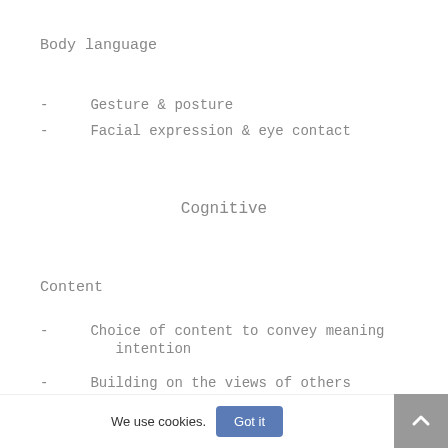Body language
- Gesture & posture
- Facial expression & eye contact
Cognitive
Content
- Choice of content to convey meaning intention
- Building on the views of others
We use cookies.
Got it